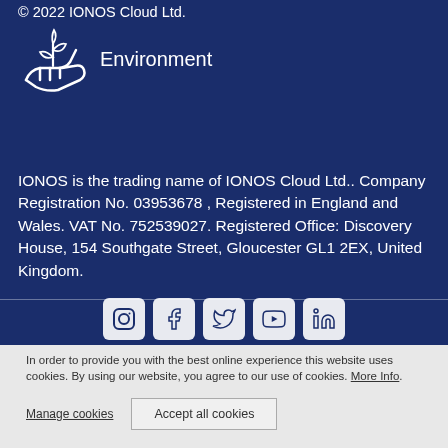© 2022 IONOS Cloud Ltd.
[Figure (illustration): White outline icon of a hand holding a plant/seedling, representing environment]
Environment
IONOS is the trading name of IONOS Cloud Ltd.. Company Registration No. 03953678 , Registered in England and Wales. VAT No. 752539027. Registered Office: Discovery House, 154 Southgate Street, Gloucester GL1 2EX, United Kingdom.
[Figure (illustration): Row of white social media icons: Instagram, Facebook, Twitter, YouTube, LinkedIn]
In order to provide you with the best online experience this website uses cookies. By using our website, you agree to our use of cookies. More Info.
Manage cookies
Accept all cookies